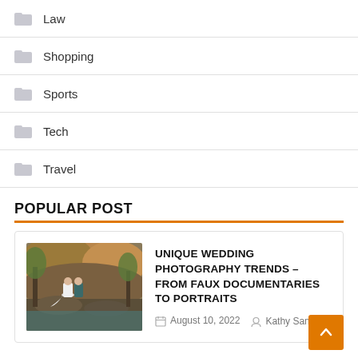Law
Shopping
Sports
Tech
Travel
POPULAR POST
[Figure (photo): Wedding couple in autumn outdoor setting, bride in white dress, groom in teal suit]
UNIQUE WEDDING PHOTOGRAPHY TRENDS – FROM FAUX DOCUMENTARIES TO PORTRAITS
August 10, 2022   Kathy Sanchez